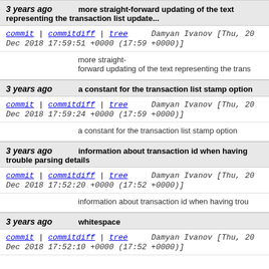3 years ago   more straight-forward updating of the text representing the transaction list update...
commit | commitdiff | tree   Damyan Ivanov [Thu, 20 Dec 2018 17:59:51 +0000 (17:59 +0000)]
more straight-forward updating of the text representing the trans
3 years ago   a constant for the transaction list stamp option
commit | commitdiff | tree   Damyan Ivanov [Thu, 20 Dec 2018 17:59:24 +0000 (17:59 +0000)]
a constant for the transaction list stamp option
3 years ago   information about transaction id when having trouble parsing details
commit | commitdiff | tree   Damyan Ivanov [Thu, 20 Dec 2018 17:52:20 +0000 (17:52 +0000)]
information about transaction id when having trou
3 years ago   whitespace
commit | commitdiff | tree   Damyan Ivanov [Thu, 20 Dec 2018 17:52:10 +0000 (17:52 +0000)]